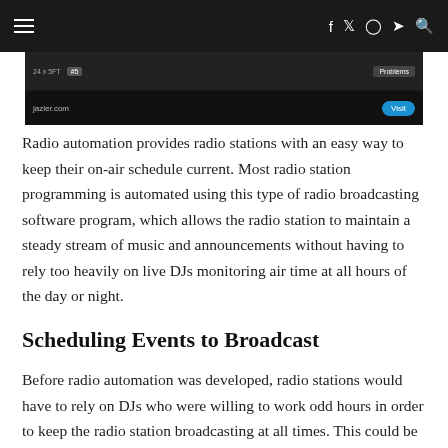Navigation bar with hamburger menu and social icons (facebook, twitter, instagram, pinterest, search)
[Figure (screenshot): Screenshot of radio automation software interface with dark background, showing a toolbar with controls and a 'Problems' panel on the right, with jazler.com URL and a Visit button at the bottom]
Radio automation provides radio stations with an easy way to keep their on-air schedule current. Most radio station programming is automated using this type of radio broadcasting software program, which allows the radio station to maintain a steady stream of music and announcements without having to rely too heavily on live DJs monitoring air time at all hours of the day or night.
Scheduling Events to Broadcast
Before radio automation was developed, radio stations would have to rely on DJs who were willing to work odd hours in order to keep the radio station broadcasting at all times. This could be very difficult particularly if there is only